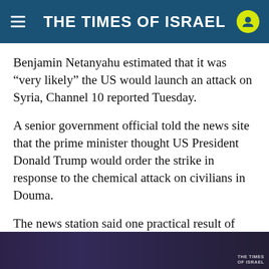THE TIMES OF ISRAEL
Benjamin Netanyahu estimated that it was “very likely” the US would launch an attack on Syria, Channel 10 reported Tuesday.
A senior government official told the news site that the prime minister thought US President Donald Trump would order the strike in response to the chemical attack on civilians in Douma.
The news station said one practical result of that assessment was that the Foreign Ministry on Monday issued a statement blaming the Syrian regime for the attack.
[Figure (photo): Partially visible news image at the bottom of the article with 'THE TIMES OF ISRAEL' watermark in bottom right corner. Dark background with blurred content.]